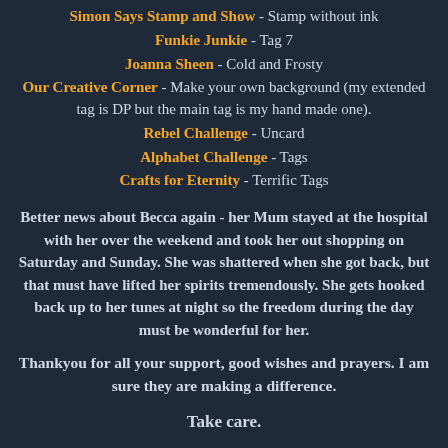Simon Says Stamp and Show - Stamp without ink
Funkie Junkie - Tag 7
Joanna Sheen - Cold and Frosty
Our Creative Corner - Make your own background (my extended tag is DP but the main tag is my hand made one).
Rebel Challenge - Uncard
Alphabet Challenge - Tags
Crafts for Eternity - Terrific Tags
Better news about Becca again - her Mum stayed at the hospital with her over the weekend and took her out shopping on Saturday and Sunday. She was shattered when she got back, but that must have lifted her spirits tremendously. She gets hooked back up to her tunes at night so the freedom during the day must be wonderful for her.
Thankyou for all your support, good wishes and prayers. I am sure they are making a difference.
Take care.